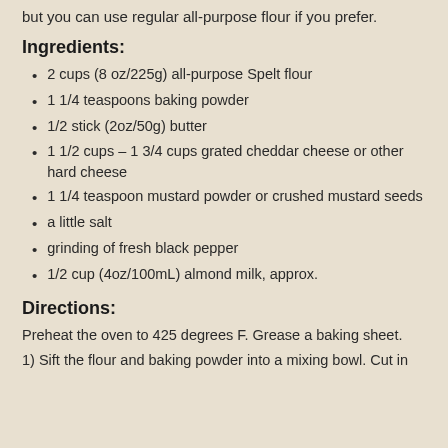but you can use regular all-purpose flour if you prefer.
Ingredients:
2 cups (8 oz/225g) all-purpose Spelt flour
1 1/4 teaspoons baking powder
1/2 stick (2oz/50g) butter
1 1/2 cups – 1 3/4 cups grated cheddar cheese or other hard cheese
1 1/4 teaspoon mustard powder or crushed mustard seeds
a little salt
grinding of fresh black pepper
1/2 cup (4oz/100mL) almond milk, approx.
Directions:
Preheat the oven to 425 degrees F. Grease a baking sheet.
1) Sift the flour and baking powder into a mixing bowl. Cut in...